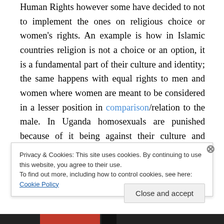Human Rights however some have decided to not to implement the ones on religious choice or women's rights. An example is how in Islamic countries religion is not a choice or an option, it is a fundamental part of their culture and identity; the same happens with equal rights to men and women where women are meant to be considered in a lesser position in comparison/relation to the male. In Uganda homosexuals are punished because of it being against their culture and traditions – thus particularities are created from this Universalism and as such, it is not realized by the
Privacy & Cookies: This site uses cookies. By continuing to use this website, you agree to their use. To find out more, including how to control cookies, see here: Cookie Policy
Close and accept